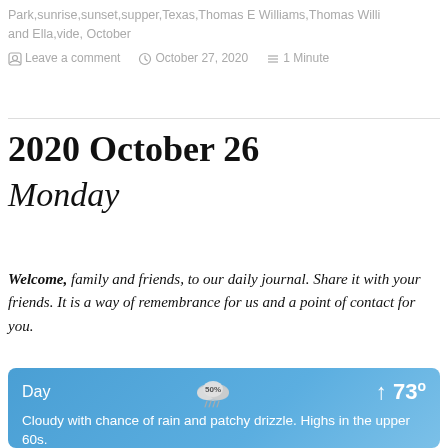Park,sunrise,sunset,supper,Texas,Thomas E Williams,Thomas Williams and Ella,vide, October
Leave a comment   October 27, 2020   1 Minute
2020 October 26
Monday
Welcome, family and friends, to our daily journal. Share it with your friends. It is a way of remembrance for us and a point of contact for you.
[Figure (infographic): Weather widget showing Day, 50% chance of rain cloud icon, high of 73 degrees. Text: Cloudy with chance of rain and patchy drizzle. Highs in the upper 60s. Temperature falling into the upper 40s in...]